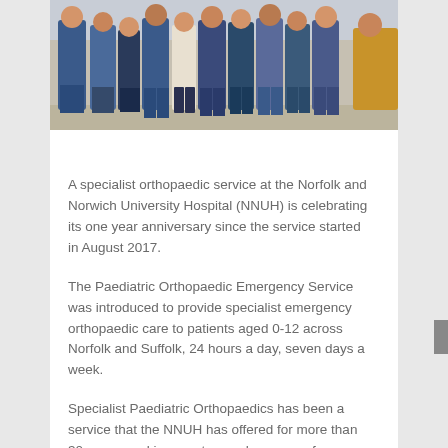[Figure (photo): Group photo of medical staff/team members standing together in professional attire, mostly wearing blue scrubs and formal clothing]
A specialist orthopaedic service at the Norfolk and Norwich University Hospital (NNUH) is celebrating its one year anniversary since the service started in August 2017.
The Paediatric Orthopaedic Emergency Service was introduced to provide specialist emergency orthopaedic care to patients aged 0-12 across Norfolk and Suffolk, 24 hours a day, seven days a week.
Specialist Paediatric Orthopaedics has been a service that the NNUH has offered for more than 30 years, and in recent years has grown from a single consultant to 4 consultants, making it the biggest children's orthopaedic unit in the East of England. This expansion has allowed the introduction of this new